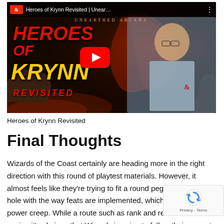[Figure (screenshot): YouTube video thumbnail for 'Heroes of Krynn Revisited | Unearthed Arcana' showing the D&D logo, text 'HEROES OF KRYNN REVISITED' in red and yellow on a dark fantasy background, a red YouTube play button in the center, and a man in a light blue shirt with the D&D logo on the right side. A top bar shows the D&D ampersand logo and the video title.]
Heroes of Krynn Revisited
Final Thoughts
Wizards of the Coast certainly are heading more in the right direction with this round of playtest materials. However, it almost feels like they're trying to fit a round peg into a square hole with the way feats are implemented, which is leading to power creep. While a route such as rank and renown mi... easier, it's obvious that Wizards is going to follow their current